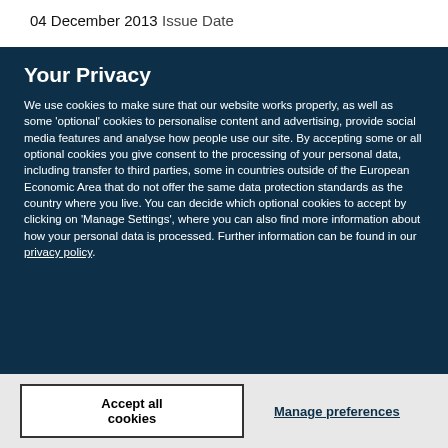04 December 2013
Issue Date
Your Privacy
We use cookies to make sure that our website works properly, as well as some 'optional' cookies to personalise content and advertising, provide social media features and analyse how people use our site. By accepting some or all optional cookies you give consent to the processing of your personal data, including transfer to third parties, some in countries outside of the European Economic Area that do not offer the same data protection standards as the country where you live. You can decide which optional cookies to accept by clicking on 'Manage Settings', where you can also find more information about how your personal data is processed. Further information can be found in our privacy policy.
Accept all cookies
Manage preferences